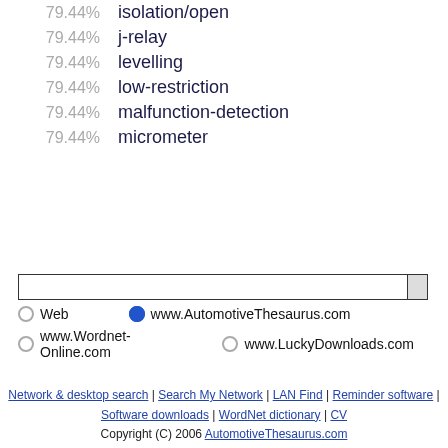79.44%   isolation/open
79.44%   j-relay
79.44%   levelling
79.44%   low-restriction
79.44%   malfunction-detection
79.44%   micrometer
[search input box]
Web   www.AutomotiveThesaurus.com
www.Wordnet-Online.com   www.LuckyDownloads.com
Network & desktop search | Search My Network | LAN Find | Reminder software | Software downloads | WordNet dictionary | CV
Copyright (C) 2006 AutomotiveThesaurus.com